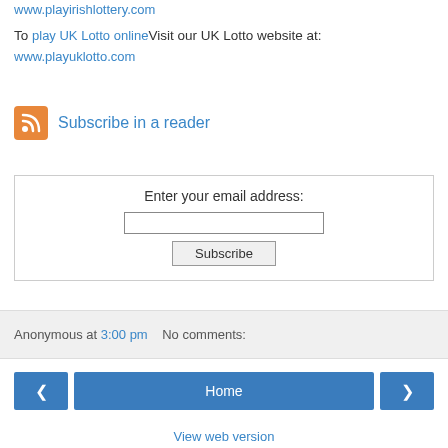www.playirishlottery.com
To play UK Lotto onlineVisit our UK Lotto website at: www.playuklotto.com
Subscribe in a reader
Enter your email address:
Anonymous at 3:00 pm   No comments:
Home
View web version